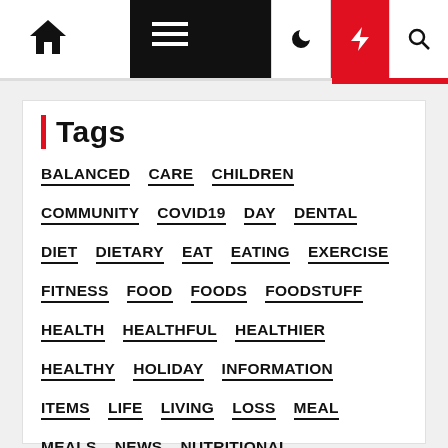Navigation bar with home icon, menu, moon, lightning, and search icons
Tags
BALANCED
CARE
CHILDREN
COMMUNITY
COVID19
DAY
DENTAL
DIET
DIETARY
EAT
EATING
EXERCISE
FITNESS
FOOD
FOODS
FOODSTUFF
HEALTH
HEALTHFUL
HEALTHIER
HEALTHY
HOLIDAY
INFORMATION
ITEMS
LIFE
LIVING
LOSS
MEAL
MEALS
NEWS
NUTRITIONAL
NUTRITIOUS
PANDEMIC
PLAN
RECIPES
STUFF
SUPPLEMENTS
TIME
TIPS
TREATMENT
WEIGHT
WELLBEING
WELLNESS